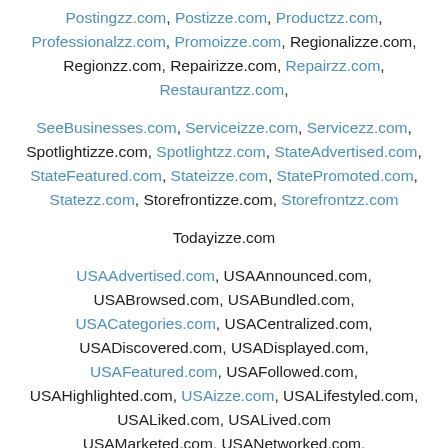Postingzz.com, Postizze.com, Productzz.com, Professionalzz.com, Promoizze.com, Regionalizze.com, Regionzz.com, Repairizze.com, Repairzz.com, Restaurantzz.com,
SeeBusinesses.com, Serviceizze.com, Servicezz.com, Spotlightizze.com, Spotlightzz.com, StateAdvertised.com, StateFeatured.com, Stateizze.com, StatePromoted.com, Statezz.com, Storefrontizze.com, Storefrontzz.com
Todayizze.com
USAAdvertised.com, USAAnnounced.com, USABrowsed.com, USABundled.com, USACategories.com, USACentralized.com, USADiscovered.com, USADisplayed.com, USAFeatured.com, USAFollowed.com, USAHighlighted.com, USAizze.com, USALifestyled.com, USALiked.com, USALived.com, USAMarketed.com, USANetworked.com,